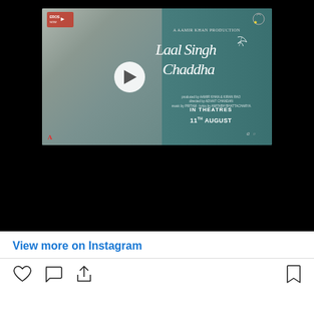[Figure (screenshot): Video thumbnail for Laal Singh Chaddha movie promotion showing a man in a pink turban and beard. The title 'Laal Singh Chaddha' is shown in script font on the right side with 'IN THEATRES 11TH AUGUST' text below. A white play button is centered on the image. Logos visible top-left and top-right.]
View more on Instagram
[Figure (infographic): Instagram action icons row: heart (like), speech bubble (comment), share arrow on left side; bookmark icon on right side.]